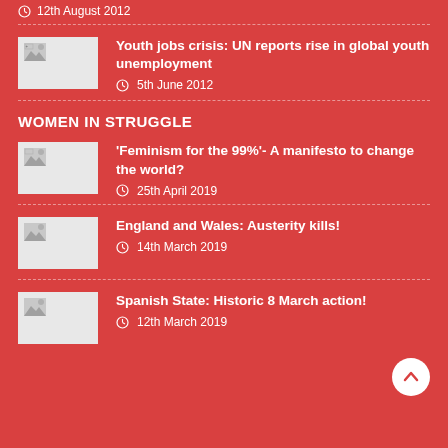12th August 2012
Youth jobs crisis: UN reports rise in global youth unemployment — 5th June 2012
WOMEN IN STRUGGLE
'Feminism for the 99%'- A manifesto to change the world? — 25th April 2019
England and Wales: Austerity kills! — 14th March 2019
Spanish State: Historic 8 March action! — 12th March 2019